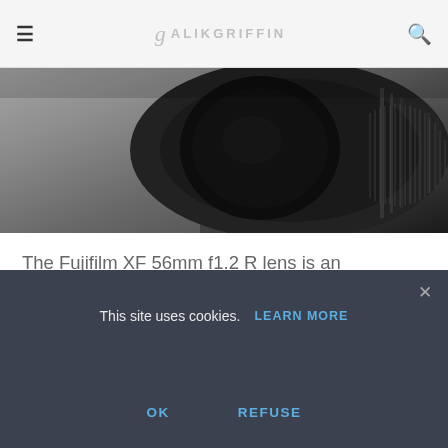≡  g ALIKGRIFFIN  🔍
[Figure (photo): Close-up black and white photo of a camera lens (Fujifilm XF 56mm) showing detail of the lens barrel and aperture ring against a gray background]
The Fujifilm XF 56mm f1.2 R lens is an absolutely phenomenal that is extremely fast with beautiful bokeh and a 7-blade rounded aperture at f1.2.
The lens is optically near perfect and is very well-built with an all metal barrel. It does have somewhat of a high element count as a tradeoff to great corner to corner
This site uses cookies.  LEARN MORE
OK    REFUSE